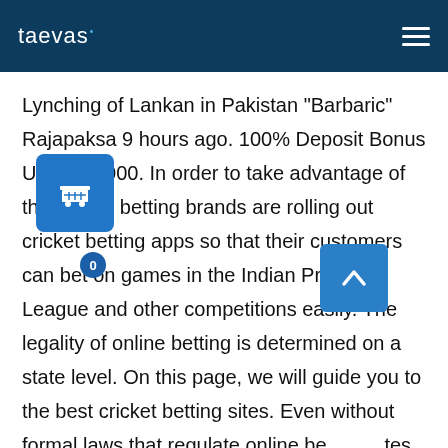taevas
Lynching of Lankan in Pakistan "Barbaric" Rajapaksa 9 hours ago. 100% Deposit Bonus Up to ₹8,000. In order to take advantage of this boom, betting brands are rolling out cricket betting apps so that their customers can bet on games in the Indian Premier League and other competitions easily. The legality of online betting is determined on a state level. On this page, we will guide you to the best cricket betting sites. Even without formal laws that regulate online betting sites in India, the Indian betting industry is estimated to be worth $60 billion. Getting a welcome bonus on Bet365 is easy. It allows one to bet on a variety of live sports cricket, horse racing, football